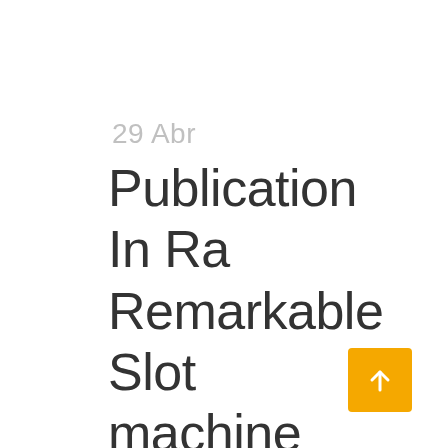29 Abr
Publication In Ra Remarkable Slot machine
[Figure (illustration): Orange/yellow square button with white upward arrow icon, positioned at bottom right]